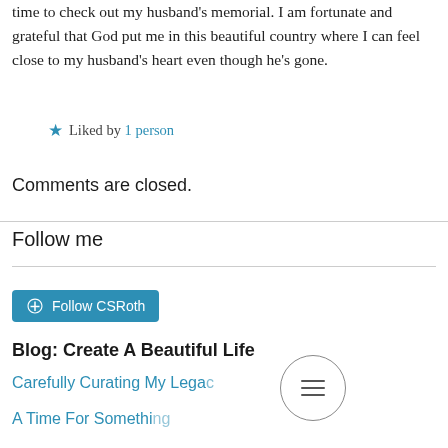time to check out my husband's memorial. I am fortunate and grateful that God put me in this beautiful country where I can feel close to my husband's heart even though he's gone.
★ Liked by 1 person
Comments are closed.
Follow me
[Figure (other): WordPress Follow CSRoth button]
Blog: Create A Beautiful Life
Carefully Curating My Legacy
A Time For Something